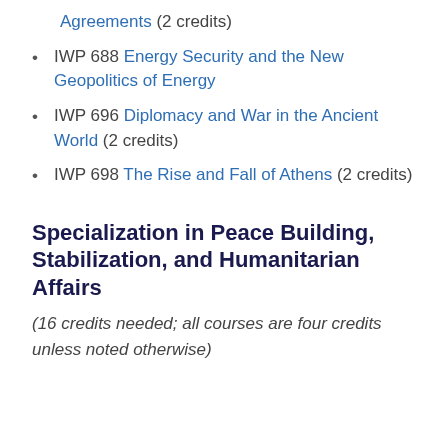Agreements (2 credits)
IWP 688 Energy Security and the New Geopolitics of Energy
IWP 696 Diplomacy and War in the Ancient World (2 credits)
IWP 698 The Rise and Fall of Athens (2 credits)
Specialization in Peace Building, Stabilization, and Humanitarian Affairs
(16 credits needed; all courses are four credits unless noted otherwise)